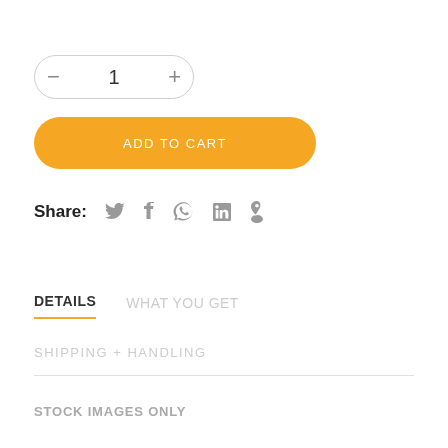[Figure (screenshot): Quantity stepper control showing minus button, number 1, and plus button in a rounded pill-shaped border]
[Figure (screenshot): Orange rounded ADD TO CART button]
Share:  (twitter icon)  (facebook icon)  (google+ icon)  (linkedin icon)  (pinterest icon)
DETAILS    WHAT YOU GET
SHIPPING + HANDLING
STOCK IMAGES ONLY